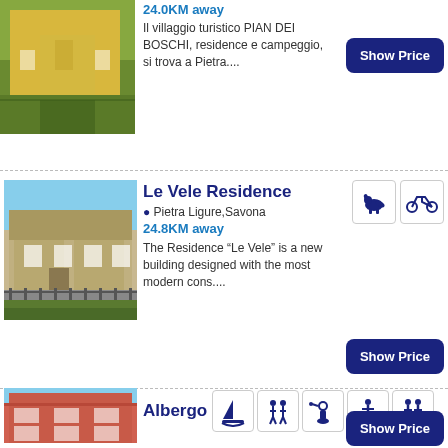[Figure (photo): Partial view of a yellow building with path]
24.0KM away
Il villaggio turistico PIAN DEI BOSCHI, residence e campeggio, si trova a Pietra....
Show Price
[Figure (photo): Modern beige/grey residential building with fence and plants]
Le Vele Residence
Pietra Ligure,Savona
24.8KM away
The Residence “Le Vele” is a new building designed with the most modern cons....
[Figure (illustration): Amenity icons: dog allowed, bicycle]
Show Price
[Figure (photo): Pink/salmon colored hotel building with balconies]
Albergo
[Figure (illustration): Amenity icons: sailing, activities, scuba, gym, family]
Ristorante Aurora
★★
Loano,Savona  25.8KM away
prova
Show Price